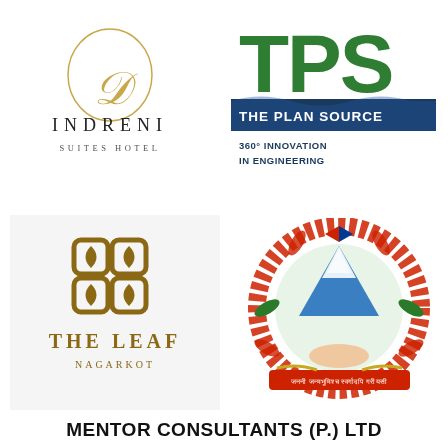[Figure (logo): Indreni Suites Hotel logo — oval gold script D with circular ring, below it INDRENI in spaced serif capitals, below SUITES HOTEL in small caps]
[Figure (logo): TPS The Plan Source logo — large green TPS letters, blue wave, text THE PLAN SOURCE and 360° INNOVATION IN ENGINEERING]
[Figure (logo): The Leaf Nagarkot logo — brown symmetrical four-petal/leaf motif in square tiles, text THE LEAF and NAGARKOT]
[Figure (logo): Nepal government emblem — circular wreath of rhododendrons around snowy mountain and flag, handshake below, Devanagari text on red ribbon]
MENTOR CONSULTANTS (P.) LTD